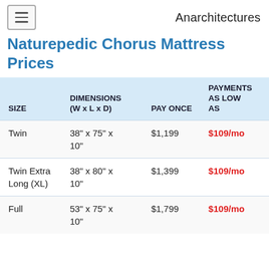Anarchitectures
Naturepedic Chorus Mattress Prices
| SIZE | DIMENSIONS (W x L x D) | PAY ONCE | PAYMENTS AS LOW AS |
| --- | --- | --- | --- |
| Twin | 38" x 75" x 10" | $1,199 | $109/mo |
| Twin Extra Long (XL) | 38" x 80" x 10" | $1,399 | $109/mo |
| Full | 53" x 75" x 10" | $1,799 | $109/mo |